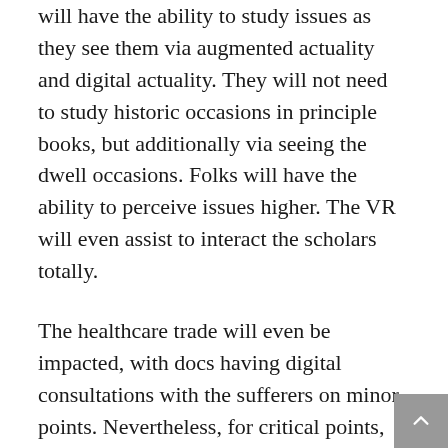will have the ability to study issues as they see them via augmented actuality and digital actuality. They will not need to study historic occasions in principle books, but additionally via seeing the dwell occasions. Folks will have the ability to perceive issues higher. The VR will even assist to interact the scholars totally.
The healthcare trade will even be impacted, with docs having digital consultations with the sufferers on minor points. Nevertheless, for critical points, one might want to go to the hospital. Ideally, Metaverse will carry among the best industrial revolutions of all time.